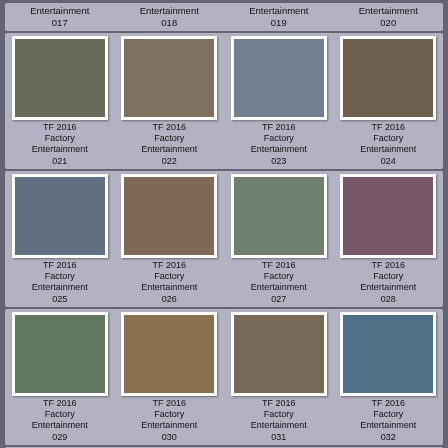Entertainment 017
Entertainment 018
Entertainment 019
Entertainment 020
[Figure (photo): TF 2016 Factory Entertainment 021 - photo of collectible figure]
TF 2016 Factory Entertainment 021
[Figure (photo): TF 2016 Factory Entertainment 022 - photo of collectible figure]
TF 2016 Factory Entertainment 022
[Figure (photo): TF 2016 Factory Entertainment 023 - photo of collectible figure]
TF 2016 Factory Entertainment 023
[Figure (photo): TF 2016 Factory Entertainment 024 - photo of collectible figure]
TF 2016 Factory Entertainment 024
[Figure (photo): TF 2016 Factory Entertainment 025 - photo of collectible figure]
TF 2016 Factory Entertainment 025
[Figure (photo): TF 2016 Factory Entertainment 026 - photo of collectible figure]
TF 2016 Factory Entertainment 026
[Figure (photo): TF 2016 Factory Entertainment 027 - photo of collectible figure]
TF 2016 Factory Entertainment 027
[Figure (photo): TF 2016 Factory Entertainment 028 - photo of collectible figure]
TF 2016 Factory Entertainment 028
[Figure (photo): TF 2016 Factory Entertainment 029 - photo of collectible figure]
TF 2016 Factory Entertainment 029
[Figure (photo): TF 2016 Factory Entertainment 030 - photo of collectible figure]
TF 2016 Factory Entertainment 030
[Figure (photo): TF 2016 Factory Entertainment 031 - photo of collectible figure]
TF 2016 Factory Entertainment 031
[Figure (photo): TF 2016 Factory Entertainment 032 - photo of collectible figure]
TF 2016 Factory Entertainment 032
[Figure (photo): TF 2016 Factory Entertainment 033+ partial row]
[Figure (photo): TF 2016 Factory Entertainment 034+ partial row]
[Figure (photo): TF 2016 Factory Entertainment 035+ partial row]
[Figure (photo): TF 2016 Factory Entertainment 036+ partial row]